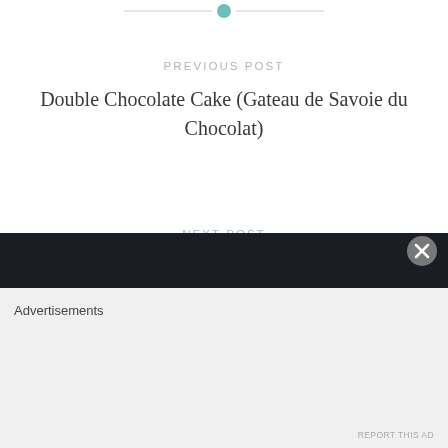[Figure (other): Horizontal divider line with a teal/mint circle in the center at the top of the page]
PREVIOUS POST
Double Chocolate Cake (Gateau de Savoie du Chocolat)
NEXT POST
Lemon Tart (II)
[Figure (other): Dark/black horizontal bar (ad or UI element) with a close X button on the right side]
Advertisements
REPORT THIS AD